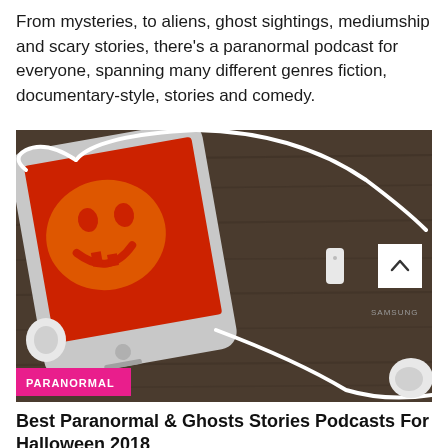From mysteries, to aliens, ghost sightings, mediumship and scary stories, there's a paranormal podcast for everyone, spanning many different genres fiction, documentary-style, stories and comedy.
[Figure (photo): A Samsung smartphone lying on a dark wood surface displaying a glowing jack-o-lantern (Halloween pumpkin face) on screen, with white earbuds/earphones coiled around and beside the phone. A pink badge labeled PARANORMAL is overlaid in the bottom-left corner. A white up-arrow scroll button is in the upper-right of the image.]
Best Paranormal & Ghosts Stories Podcasts For Halloween 2018